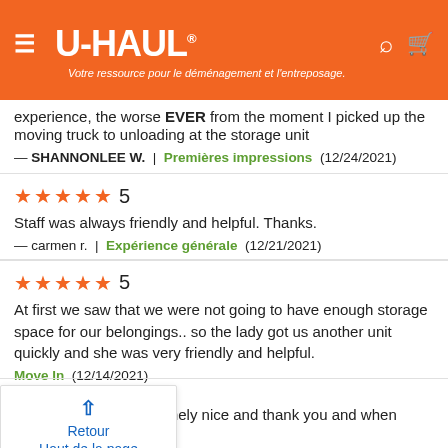[Figure (screenshot): U-Haul website header with orange background, hamburger menu, U-HAUL logo with registered trademark, location pin icon, cart icon, and French tagline 'Votre ressource pour le déménagement et l'entreposage.']
experience, the worse EVER from the moment I picked up the moving truck to unloading at the storage unit
— SHANNONLEE W. | Premières impressions (12/24/2021)
★★★★★ 5
Staff was always friendly and helpful. Thanks.
— carmen r. | Expérience générale (12/21/2021)
★★★★★ 5
At first we saw that we were not going to have enough storage space for our belongings.. so the lady got us another unit quickly and she was very friendly and helpful.
Move In (12/14/2021)
Retour
Haut de la page
Everyone was so extremely nice and thank you and when there was